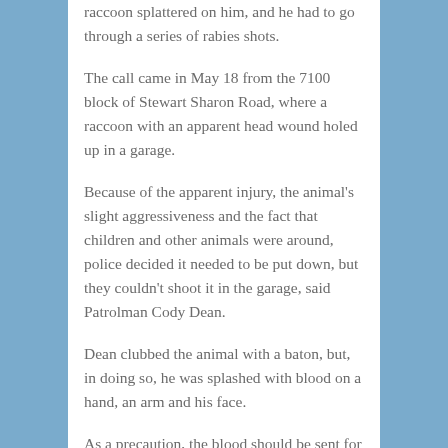raccoon splattered on him, and he had to go through a series of rabies shots.
The call came in May 18 from the 7100 block of Stewart Sharon Road, where a raccoon with an apparent head wound holed up in a garage.
Because of the apparent injury, the animal's slight aggressiveness and the fact that children and other animals were around, police decided it needed to be put down, but they couldn't shoot it in the garage, said Patrolman Cody Dean.
Dean clubbed the animal with a baton, but, in doing so, he was splashed with blood on a hand, an arm and his face.
As a precaution, the blood should be sent for